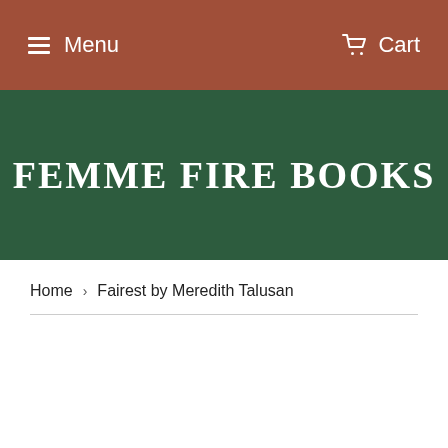Menu  Cart
FEMME FIRE BOOKS
Home › Fairest by Meredith Talusan